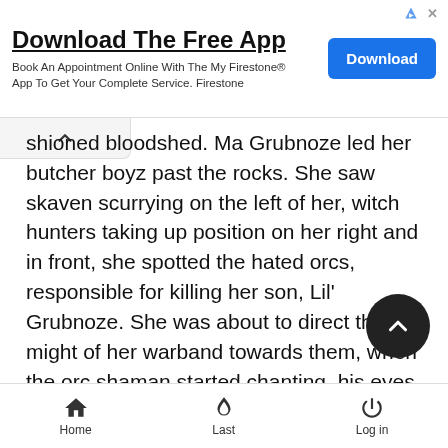[Figure (screenshot): Advertisement banner for Firestone app download with title 'Download The Free App', subtitle text, and a blue Download button.]
shioned bloodshed. Ma Grubnoze led her butcher boyz past the rocks. She saw skaven scurrying on the left of her, witch hunters taking up position on her right and in front, she spotted the hated orcs, responsible for killing her son, Lil' Grubnoze. She was about to direct the full might of her warband towards them, when the orc shaman started chanting, his eyes glowing with an unnatural green light. Moments later, all three of the warhounds from the witch hunters were smouldering carcassess.
Impressed with this feat of strength, but not wanting to admit it, Ma Grubnoze muttered something about the orcs not playing fairly and she led her butcher apprentices towards the witch hunters, whilst Silent Red, the hired hunter, was ordered to up on the skaven. Red was about to start his surpise attack in
Home    Last    Log in